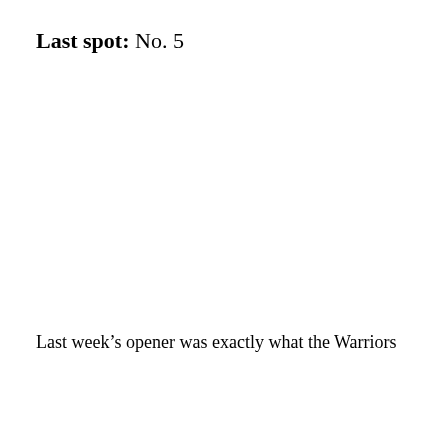Last spot: No. 5
Last week's opener was exactly what the Warriors
[Figure (other): Advertisement for CVS Photo showing logo, 'Photo Quality Guaranteed' headline, 'CVS Photo' subtext, and a blue diamond navigation icon, with play and close controls below.]